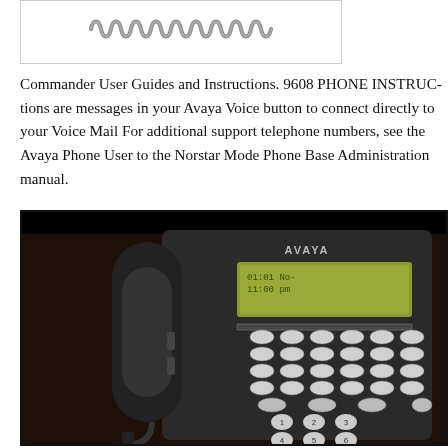[Figure (photo): Photo of a coiled telephone handset cord against white background]
Commander User Guides and Instructions. 9608 PHONE INSTRUCTIONS are messages in your Avaya Voice button to connect directly to your Voice Mail For additional support telephone numbers, see the Avaya Phone User to the Norstar Mode Phone Base Administration manual.
[Figure (photo): Photo of an Avaya office desk phone (black) with display screen showing time/date and multiple button rows including programmable keys and numeric keypad]